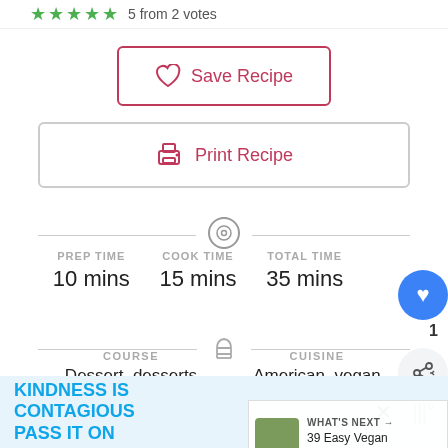5 from 2 votes
Save Recipe
Print Recipe
PREP TIME
10 mins
COOK TIME
15 mins
TOTAL TIME
35 mins
COURSE
Dessert, desserts
CUISINE
American, vegan
WHAT'S NEXT → 39 Easy Vegan Cinco De...
KINDNESS IS CONTAGIOUS PASS IT ON